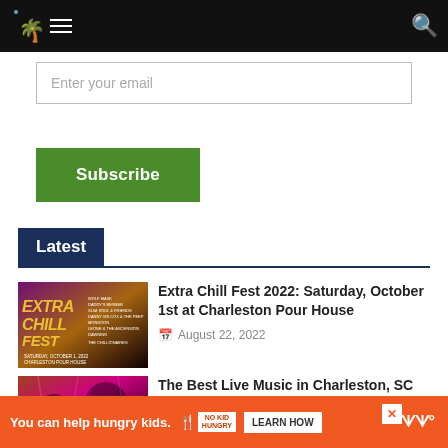Charleston music/events website header with logo, hamburger menu, and search icon
Enter your email
Subscribe
Latest
Extra Chill Fest 2022: Saturday, October 1st at Charleston Pour House
August 22, 2022
The Best Live Music in Charleston, SC This Week
[Figure (photo): Extra Chill Fest 2022 event poster with colorful retro lettering on dark background]
[Figure (photo): Live music concert photo with performer under colorful lights]
You can help hungry kids. NO KID HUNGRY LEARN HOW